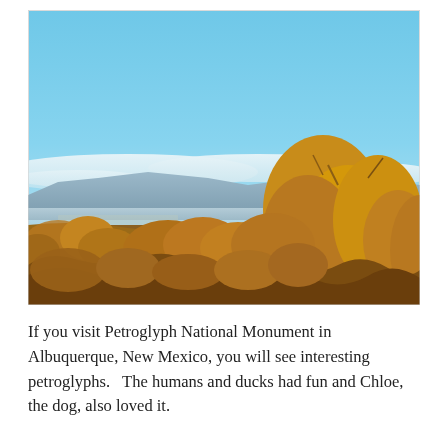[Figure (photo): Outdoor landscape photograph showing a wide blue sky with some white clouds near the horizon, distant mountains or mesa formations, and golden-brown desert scrub vegetation in the foreground. The scene is characteristic of the Albuquerque, New Mexico high desert environment.]
If you visit Petroglyph National Monument in Albuquerque, New Mexico, you will see interesting petroglyphs.   The humans and ducks had fun and Chloe, the dog, also loved it.